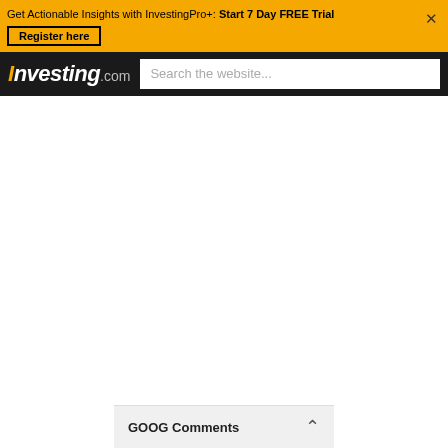Get Actionable Insights with InvestingPro+: Start 7 Day FREE Trial  Register here
Investing.com  Search the website...
[Figure (screenshot): Empty white content area below the Investing.com navigation header]
GOOG Comments